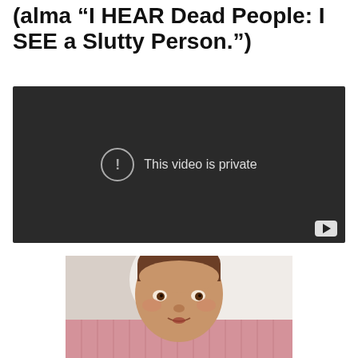(alma "I HEAR Dead People: I SEE a Slutty Person.")
[Figure (screenshot): Embedded YouTube video player showing a dark/black background with an exclamation mark in a circle and the text 'This video is private'. A YouTube play button icon is in the bottom-right corner.]
[Figure (photo): A young child with short brown hair looking upward with a slightly open mouth, wearing or near a pink knit garment, with white fabric visible in the background.]